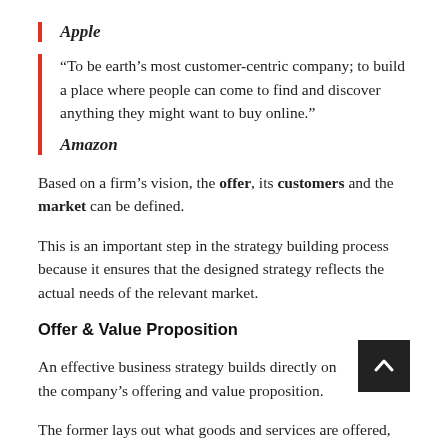Apple
“To be earth’s most customer-centric company; to build a place where people can come to find and discover anything they might want to buy online.”
Amazon
Based on a firm’s vision, the offer, its customers and the market can be defined.
This is an important step in the strategy building process because it ensures that the designed strategy reflects the actual needs of the relevant market.
Offer & Value Proposition
An effective business strategy builds directly on the company’s offering and value proposition.
The former lays out what goods and services are offered,